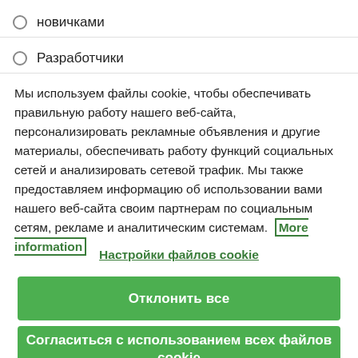новичками
Разработчики
Мы используем файлы cookie, чтобы обеспечивать правильную работу нашего веб-сайта, персонализировать рекламные объявления и другие материалы, обеспечивать работу функций социальных сетей и анализировать сетевой трафик. Мы также предоставляем информацию об использовании вами нашего веб-сайта своим партнерам по социальным сетям, рекламе и аналитическим системам.  More information
Настройки файлов cookie
Отклонить все
Согласиться с использованием всех файлов cookie